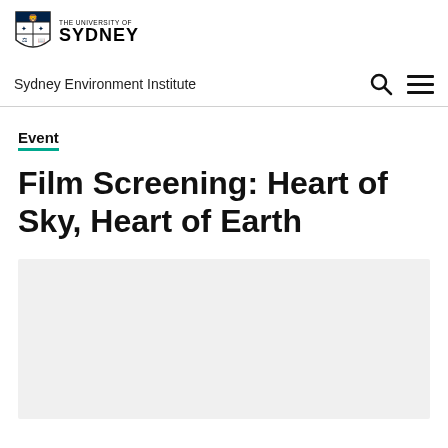The University of Sydney — Sydney Environment Institute
Event
Film Screening: Heart of Sky, Heart of Earth
[Figure (photo): Light grey rectangular image placeholder below the title]